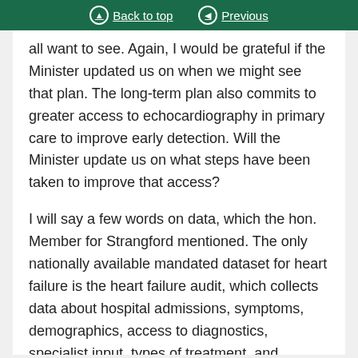Back to top   Previous
all want to see. Again, I would be grateful if the Minister updated us on when we might see that plan. The long-term plan also commits to greater access to echocardiography in primary care to improve early detection. Will the Minister update us on what steps have been taken to improve that access?
I will say a few words on data, which the hon. Member for Strangford mentioned. The only nationally available mandated dataset for heart failure is the heart failure audit, which collects data about hospital admissions, symptoms, demographics, access to diagnostics, specialist input, types of treatment, and mortality. Unfortunately, that data is not linked to primary